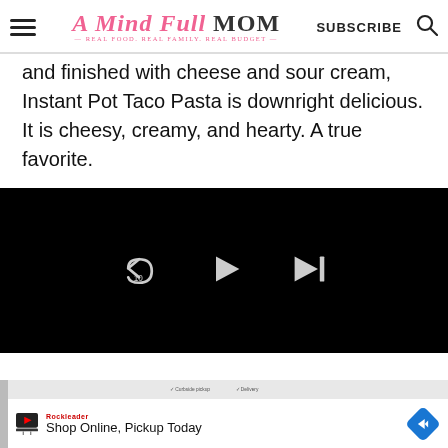A Mind Full Mom — REAL FOOD. REAL FAMILY. REAL BUDGET. | SUBSCRIBE
and finished with cheese and sour cream, Instant Pot Taco Pasta is downright delicious. It is cheesy, creamy, and hearty. A true favorite.
[Figure (screenshot): Embedded video player with black background showing playback controls: rewind 10 seconds, play, and skip-to-end buttons in white.]
[Figure (screenshot): Advertisement banner: Curbside pickup / Delivery options shown above. Ad content shows a play icon, Rockleader brand name, text 'Shop Online, Pickup Today', and a blue navigation diamond icon.]